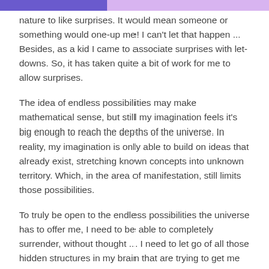nature to like surprises.  It would mean someone or something would one-up me!  I can't let that happen ... Besides, as a kid I came to associate surprises with let-downs.  So, it has taken quite a bit of work for me to allow surprises.
The idea of endless possibilities may make mathematical sense, but still my imagination feels it's big enough to reach the depths of the universe.  In reality, my imagination is only able to build on ideas that already exist, stretching known concepts into unknown territory.  Which, in the area of manifestation, still limits those possibilities.
To truly be open to the endless possibilities the universe has to offer me, I need to be able to completely surrender, without thought ... I need to let go of all those hidden structures in my brain that are trying to get me to control my outcomes by using my innate problem-solving and imaginative mind